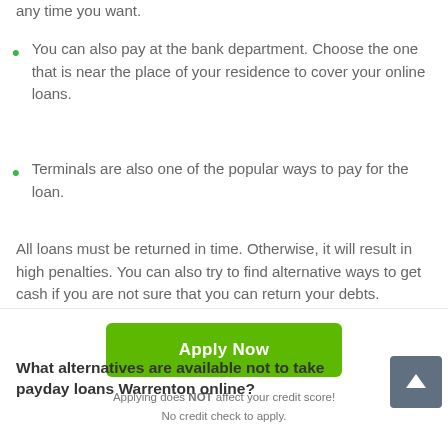any time you want.
You can also pay at the bank department. Choose the one that is near the place of your residence to cover your online loans.
Terminals are also one of the popular ways to pay for the loan.
All loans must be returned in time. Otherwise, it will result in high penalties. You can also try to find alternative ways to get cash if you are not sure that you can return your debts.
What alternatives are available not to take payday loans Warrenton online?
[Figure (other): Green 'Apply Now' button with subtext 'Applying does NOT affect your credit score! No credit check to apply.']
Applying does NOT affect your credit score!
No credit check to apply.